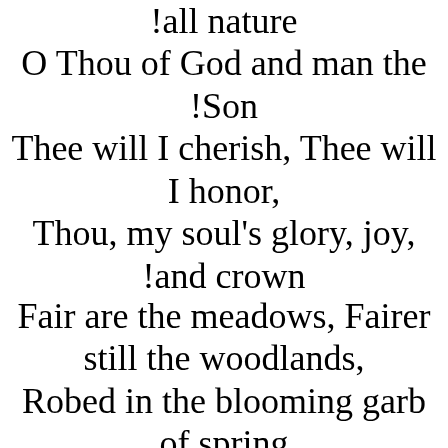!all nature
O Thou of God and man the !Son
Thee will I cherish, Thee will I honor,
Thou, my soul's glory, joy, and crown!
Fair are the meadows, Fairer still the woodlands,
Robed in the blooming garb of spring;